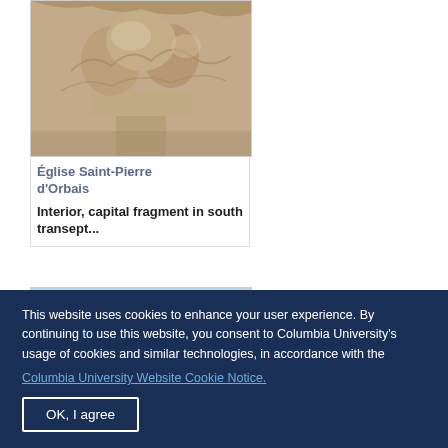[Figure (photo): Stone carved capital fragment from the interior of Église Saint-Pierre d'Orbais, south transept]
Église Saint-Pierre d'Orbais
Interior, capital fragment in south transept...
[Figure (photo): Partial view of another image, mostly blue/grey tones, cropped at bottom]
This website uses cookies to enhance your user experience. By continuing to use this website, you consent to Columbia University's usage of cookies and similar technologies, in accordance with the
Columbia University Website Cookie Notice.
OK, I agree